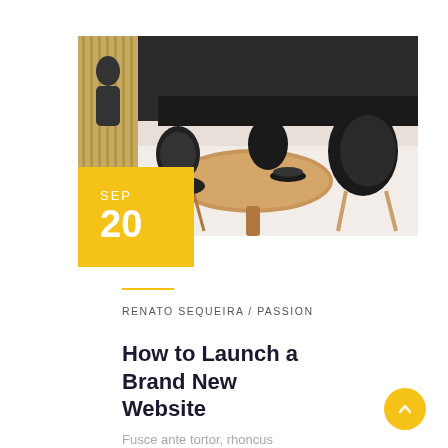[Figure (photo): Indoor dining room with a round wooden table and black modern chairs on a white floor, with wooden slat wall paneling in the background.]
SEP
20
RENATO SEQUEIRA / PASSION
How to Launch a Brand New Website
Fusce ante tortor, rhoncus